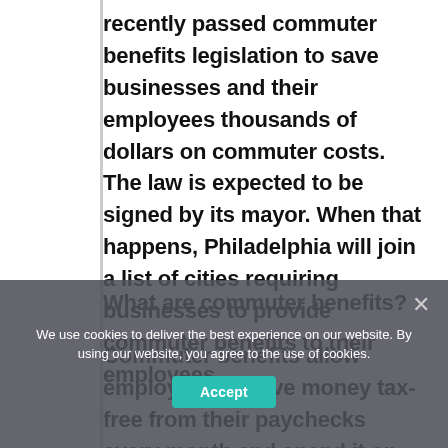recently passed commuter benefits legislation to save businesses and their employees thousands of dollars on commuter costs. The law is expected to be signed by its mayor. When that happens, Philadelphia will join a list of cities requiring businesses to provide commuter benefits to their employees.
What are commuter benefits?
Commuter benefits allow employees to save money tax-free from their paychecks every month and spend it on public transportation like trains,
We use cookies to deliver the best experience on our website. By using our website, you agree to the use of cookies.